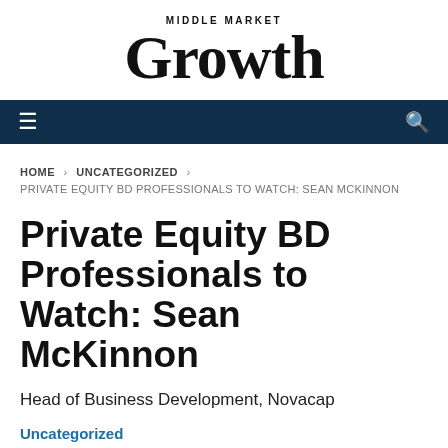MIDDLE MARKET Growth
HOME > UNCATEGORIZED > PRIVATE EQUITY BD PROFESSIONALS TO WATCH: SEAN MCKINNON
Private Equity BD Professionals to Watch: Sean McKinnon
Head of Business Development, Novacap
Uncategorized